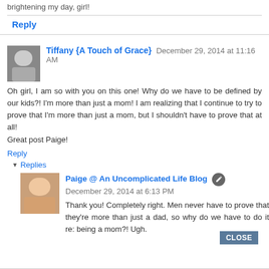brightening my day, girl!
Reply
Tiffany {A Touch of Grace} December 29, 2014 at 11:16 AM
Oh girl, I am so with you on this one! Why do we have to be defined by our kids?! I'm more than just a mom! I am realizing that I continue to try to prove that I'm more than just a mom, but I shouldn't have to prove that at all!
Great post Paige!
Reply
Replies
Paige @ An Uncomplicated Life Blog December 29, 2014 at 6:13 PM
Thank you! Completely right. Men never have to prove that they're more than just a dad, so why do we have to do it re: being a mom?! Ugh.